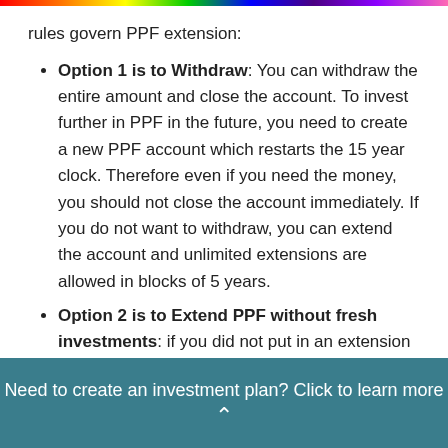rules govern PPF extension:
Option 1 is to Withdraw: You can withdraw the entire amount and close the account. To invest further in PPF in the future, you need to create a new PPF account which restarts the 15 year clock. Therefore even if you need the money, you should not close the account immediately. If you do not want to withdraw, you can extend the account and unlimited extensions are allowed in blocks of 5 years.
Option 2 is to Extend PPF without fresh investments: if you did not put in an extension
Need to create an investment plan? Click to learn more